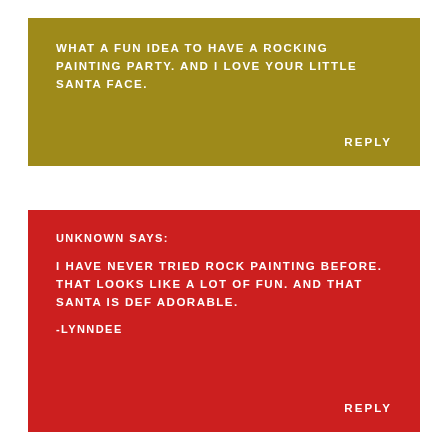WHAT A FUN IDEA TO HAVE A ROCKING PAINTING PARTY. AND I LOVE YOUR LITTLE SANTA FACE.
REPLY
UNKNOWN SAYS:
I HAVE NEVER TRIED ROCK PAINTING BEFORE. THAT LOOKS LIKE A LOT OF FUN. AND THAT SANTA IS DEF ADORABLE.
-LYNNDEE
REPLY